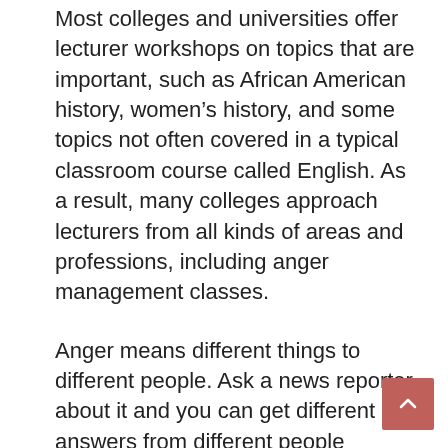Most colleges and universities offer lecturer workshops on topics that are important, such as African American history, women's history, and some topics not often covered in a typical classroom course called English. As a result, many colleges approach lecturers from all kinds of areas and professions, including anger management classes.
Anger means different things to different people. Ask a news reporter about it and you can get different answers from different people depending on what “ Analyst” on the series you’re working for may be talking about. While the term “Angry Demon” may be heard, and if you’ve never heard anyone refer to themselves as one, many people act like Demon 1988. So, they refer to “Angry